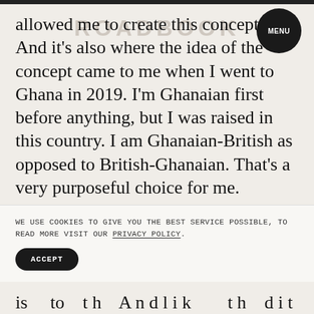ROADBOOK
allowed me to create this concept are. And it's also where the idea of the concept came to me when I went to Ghana in 2019. I'm Ghanaian first before anything, but I was raised in this country. I am Ghanaian-British as opposed to British-Ghanaian. That's a very purposeful choice for me.
Twi, a Ghanaian, is the first language that I spoke. We weren't actually allowed to speak English in
WE USE COOKIES TO GIVE YOU THE BEST SERVICE POSSIBLE, TO READ MORE VISIT OUR PRIVACY POLICY.
ACCEPT
is … to … t h … A n d l i k … … … t h … d i t …